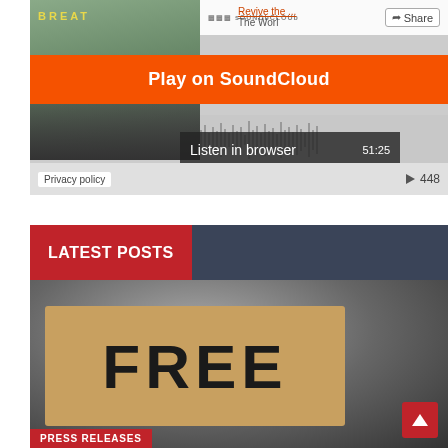[Figure (screenshot): SoundCloud embedded audio player widget showing a podcast episode with thumbnail image, orange 'Play on SoundCloud' button, 'Listen in browser' bar, waveform, and playback controls. Shows time 51:25 and play count 448.]
LATEST POSTS
[Figure (photo): Photo of a cardboard protest sign with 'FREE' written in large black letters, held against a blurred grey background. A red 'PRESS RELEASES' label appears at the bottom left, and a red scroll-up button at bottom right.]